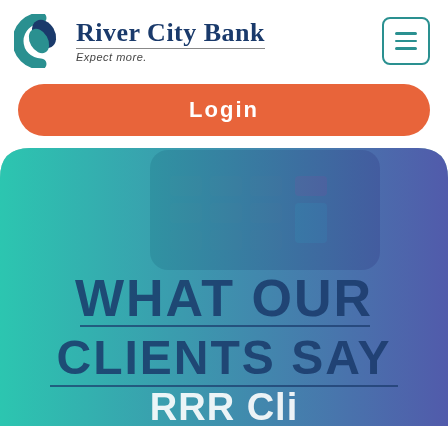[Figure (logo): River City Bank logo with circular teal/blue icon and text 'River City Bank' with tagline 'Expect more.']
Login
[Figure (photo): Hero image with teal-to-purple gradient overlay on a photo of a calculator and desk surface. Large bold text reads 'WHAT OUR CLIENTS SAY' with a partially visible line below reading 'RRR Cli...']